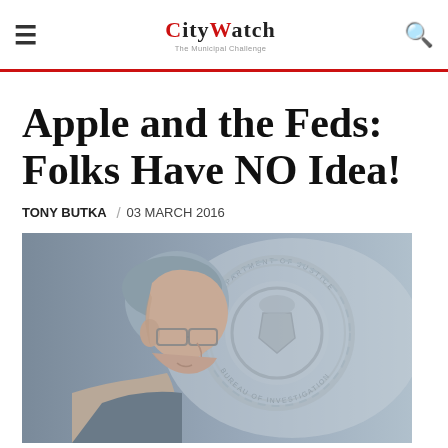CityWatch
Apple and the Feds: Folks Have NO Idea!
TONY BUTKA / 03 MARCH 2016
[Figure (photo): A man with glasses seen in profile, with an FBI Department of Justice seal visible in the background, faded/watermarked effect]